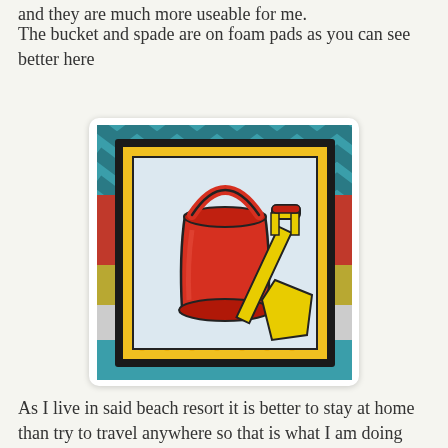and they are much more useable for me.
The bucket and spade are on foam pads as you can see better here
[Figure (photo): Close-up photo of a handmade card showing a red bucket and yellow spade on a chevron patterned background, mounted with foam pads on a black mat with yellow polka-dot border.]
As I live in said beach resort it is better to stay at home than try to travel anywhere so that is what I am doing this weekend. If you are travelling have a fun and safe Bank Holiday weekend. And if you are in Brixham this Sunday why